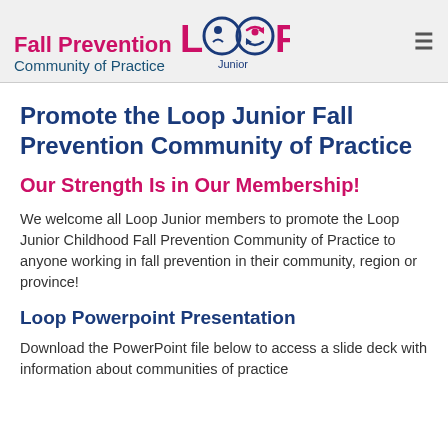Fall Prevention Community of Practice — Loop Junior
Promote the Loop Junior Fall Prevention Community of Practice
Our Strength Is in Our Membership!
We welcome all Loop Junior members to promote the Loop Junior Childhood Fall Prevention Community of Practice to anyone working in fall prevention in their community, region or province!
Loop Powerpoint Presentation
Download the PowerPoint file below to access a slide deck with information about communities of practice